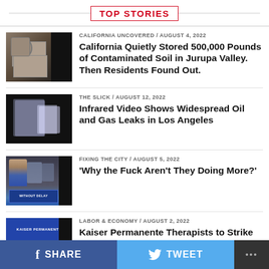TOP STORIES
CALIFORNIA UNCOVERED / August 4, 2022 — California Quietly Stored 500,000 Pounds of Contaminated Soil in Jurupa Valley. Then Residents Found Out.
THE SLICK / August 12, 2022 — Infrared Video Shows Widespread Oil and Gas Leaks in Los Angeles
FIXING THE CITY / August 5, 2022 — 'Why the Fuck Aren't They Doing More?'
LABOR & ECONOMY / August 2, 2022 — Kaiser Permanente Therapists to Strike
SHARE   TWEET   ...